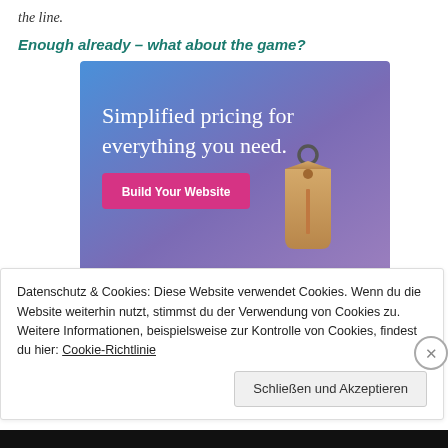the line.
Enough already – what about the game?
[Figure (screenshot): Advertisement banner with blue/purple gradient background showing text 'Simplified pricing for everything you need.' with a pink 'Build Your Website' button and a tan price tag image on the right.]
Datenschutz & Cookies: Diese Website verwendet Cookies. Wenn du die Website weiterhin nutzt, stimmst du der Verwendung von Cookies zu. Weitere Informationen, beispielsweise zur Kontrolle von Cookies, findest du hier: Cookie-Richtlinie
Schließen und Akzeptieren